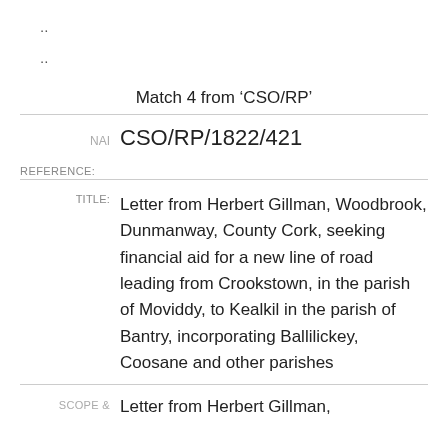..
..
Match 4 from ‘CSO/RP’
NAI   CSO/RP/1822/421
REFERENCE:
TITLE:   Letter from Herbert Gillman, Woodbrook, Dunmanway, County Cork, seeking financial aid for a new line of road leading from Crookstown, in the parish of Moviddy, to Kealkil in the parish of Bantry, incorporating Ballilickey, Coosane and other parishes
SCOPE &   Letter from Herbert Gillman,